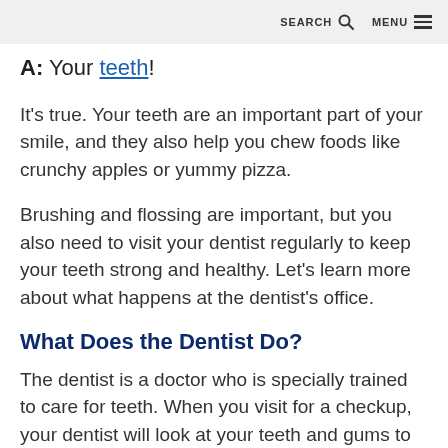SEARCH  MENU
A: Your teeth!
It's true. Your teeth are an important part of your smile, and they also help you chew foods like crunchy apples or yummy pizza.
Brushing and flossing are important, but you also need to visit your dentist regularly to keep your teeth strong and healthy. Let's learn more about what happens at the dentist's office.
What Does the Dentist Do?
The dentist is a doctor who is specially trained to care for teeth. When you visit for a checkup, your dentist will look at your teeth and gums to